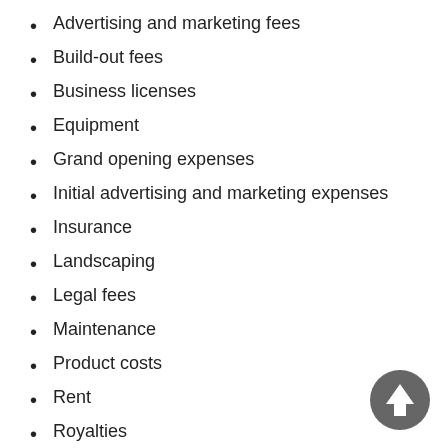Advertising and marketing fees
Build-out fees
Business licenses
Equipment
Grand opening expenses
Initial advertising and marketing expenses
Insurance
Landscaping
Legal fees
Maintenance
Product costs
Rent
Royalties
Salaries
Signage
Supplies
Taxes
Uniforms